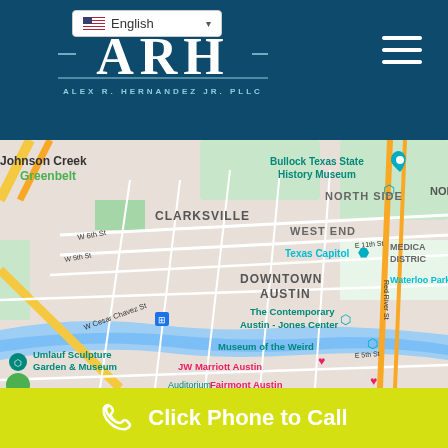ARH - Alex R. Hernandez Jr. PLLC - English language selector and navigation
[Figure (map): Google Maps view of Downtown Austin, Texas showing landmarks including Bullock Texas State History Museum, Texas Capitol, The Contemporary Austin - Jones Center, Museum of the Weird, JW Marriott Austin, Fairmont Austin, Umlauf Sculpture Garden & Museum, Waterloo Park, Clarksville neighborhood, North Side, West End, Medical District, and street names including W 6th St, W 5th St, W Cesar Chavez St, E 11th St, E 5th St, Red River St]
Click Phone to Call